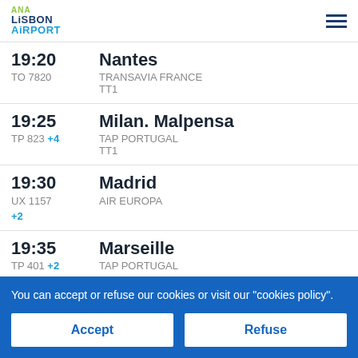ANA LISBON AIRPORT
19:20 Nantes | TO 7820 TRANSAVIA FRANCE TT1
19:25 Milan. Malpensa | TP 823 +4 TAP PORTUGAL TT1
19:30 Madrid | UX 1157 +2 AIR EUROPA
19:35 Marseille | TP 401 +2 TAP PORTUGAL
19:35 Lyon. St. Exupery | TP 477 +1 TAP PORTUGAL
You can accept or refuse our cookies or visit our "cookies policy".
Accept | Refuse